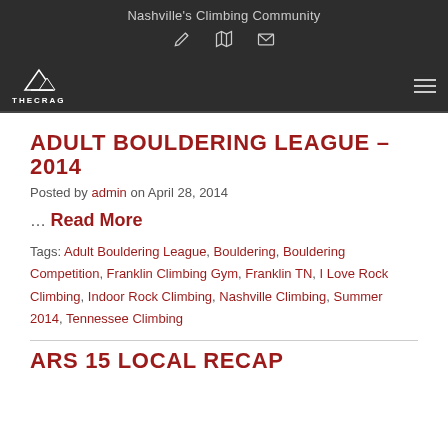Nashville's Climbing Community
ADULT BOULDERING LEAGUE – 2014
Posted by admin on April 28, 2014
… Read More
Tags: Adult Bouldering League, Bouldering, Bouldering Competition, Franklin Climbing Gym, Franklin TN, I Love Rock Climbing, Indoor Rock Climbing, Nashville Climbing, Summer 2014, Tennessee Climbing
ARS 15 LOCAL RECAP